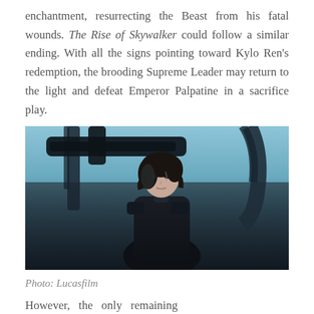enchantment, resurrecting the Beast from his fatal wounds. The Rise of Skywalker could follow a similar ending. With all the signs pointing toward Kylo Ren's redemption, the brooding Supreme Leader may return to the light and defeat Emperor Palpatine in a sacrifice play.
[Figure (photo): Photo of Kylo Ren (Adam Driver) in dark armored costume, looking upward, with dark mechanical structures in the background and a blue-tinted sky. Film still from Star Wars: The Rise of Skywalker.]
Photo: Lucasfilm
However, the only remaining